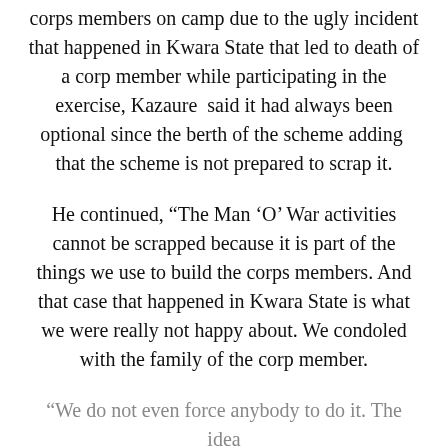corps members on camp due to the ugly incident that happened in Kwara State that led to death of a corp member while participating in the exercise, Kazaure  said it had always been optional since the berth of the scheme adding  that the scheme is not prepared to scrap it.
He continued, “The Man ‘O’ War activities cannot be scrapped because it is part of the things we use to build the corps members. And that case that happened in Kwara State is what we were really not happy about. We condoled with the family of the corp member.
“We do not even force anybody to do it. The idea